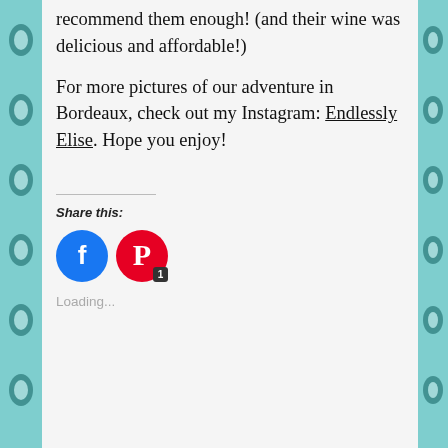recommend them enough! (and their wine was delicious and affordable!)
For more pictures of our adventure in Bordeaux, check out my Instagram: Endlessly Elise. Hope you enjoy!
Share this:
[Figure (other): Facebook and Pinterest social share buttons. Pinterest button has a badge showing '1'.]
Loading...